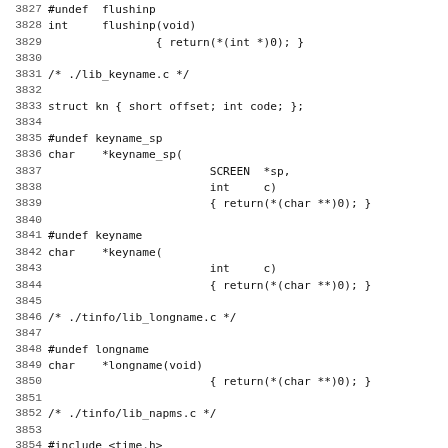Source code listing lines 3827-3859, C programming language code for ncurses library functions including flushinp, keyname_sp, keyname, longname, and napms_sp.